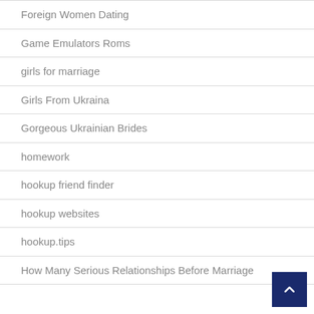Foreign Women Dating
Game Emulators Roms
girls for marriage
Girls From Ukraina
Gorgeous Ukrainian Brides
homework
hookup friend finder
hookup websites
hookup.tips
How Many Serious Relationships Before Marriage